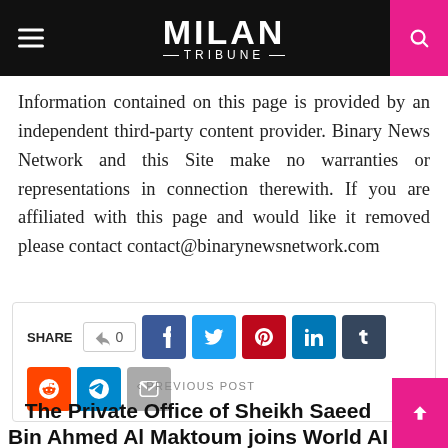MILAN TRIBUNE
Information contained on this page is provided by an independent third-party content provider. Binary News Network and this Site make no warranties or representations in connection therewith. If you are affiliated with this page and would like it removed please contact contact@binarynewsnetwork.com
[Figure (infographic): Social share bar with SHARE label, thumbs-up count of 0, and buttons for Facebook, Twitter, Pinterest, LinkedIn, Tumblr, Reddit, Telegram, Email]
< PREVIOUS POST
The Private Office of Sheikh Saeed Bin Ahmed Al Maktoum joins World AI Show